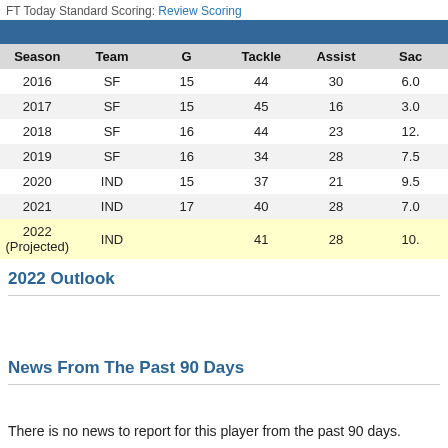FT Today Standard Scoring: Review Scoring
| Season | Team | G | Tackle | Assist | Sac |
| --- | --- | --- | --- | --- | --- |
| 2016 | SF | 15 | 44 | 30 | 6.0 |
| 2017 | SF | 15 | 45 | 16 | 3.0 |
| 2018 | SF | 16 | 44 | 23 | 12. |
| 2019 | SF | 16 | 34 | 28 | 7.5 |
| 2020 | IND | 15 | 37 | 21 | 9.5 |
| 2021 | IND | 17 | 40 | 28 | 7.0 |
| 2022 (Projected) | IND |  | 41 | 28 | 10. |
2022 Outlook
News From The Past 90 Days
There is no news to report for this player from the past 90 days.